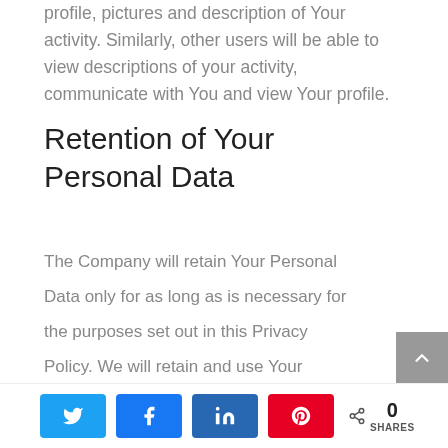profile, pictures and description of Your activity. Similarly, other users will be able to view descriptions of your activity, communicate with You and view Your profile.
Retention of Your Personal Data
The Company will retain Your Personal Data only for as long as is necessary for the purposes set out in this Privacy Policy. We will retain and use Your Personal Data to the extent necessary to comply with our